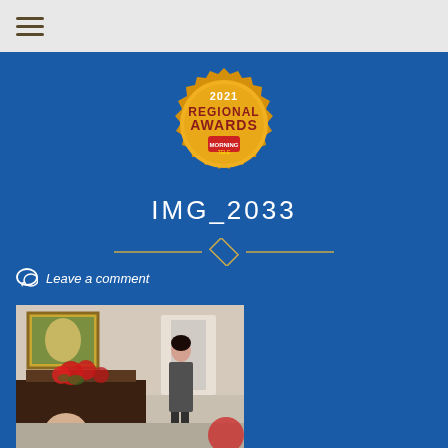☰ (hamburger menu)
[Figure (illustration): 2021 Regional Awards badge/seal — gold coin-style badge with text '2021 REGIONAL AWARDS' and a small logo at the bottom]
IMG_2033
Leave a comment
[Figure (photo): Indoor photo showing people in a living room setting with a painting on the wall, red flowers/poinsettias, and a woman standing in the background]